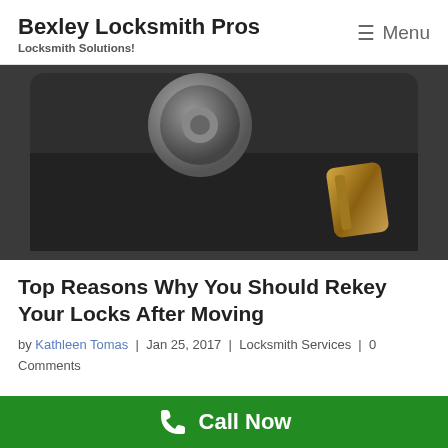Bexley Locksmith Pros — Locksmith Solutions!
[Figure (photo): Close-up photo of a lock mechanism on a dark background, showing a round lock cylinder and a brass-colored key or lock component]
Top Reasons Why You Should Rekey Your Locks After Moving
by Kathleen Tomas | Jan 25, 2017 | Locksmith Services | 0 Comments
CALL NOW! (614)363-1655
Call Now